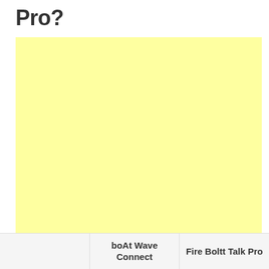Pro?
[Figure (other): Large light yellow rectangular area, appears to be an advertisement or image placeholder with pale yellow background]
|  | boAt Wave Connect | Fire Boltt Talk Pro |
| --- | --- | --- |